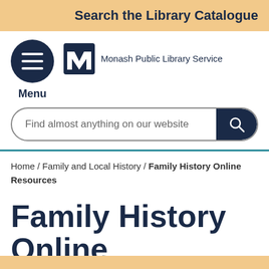Search the Library Catalogue
[Figure (logo): Monash Public Library Service logo with hamburger menu icon and M-shaped logo mark]
Find almost anything on our website
Home / Family and Local History / Family History Online Resources
Family History Online Resources